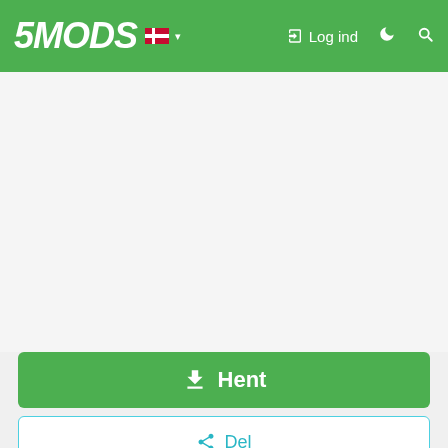5MODS — Log ind
[Figure (screenshot): Green download button labeled Hent with download icon]
Del
PlanetThrill
[Figure (illustration): Orange/red circular planet avatar with ring and chat icon below username PlanetThrill]